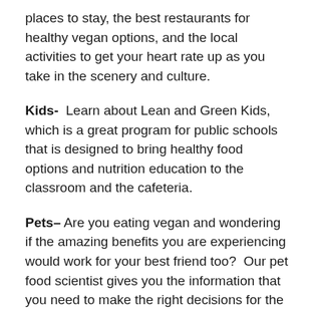places to stay, the best restaurants for healthy vegan options, and the local activities to get your heart rate up as you take in the scenery and culture.
Kids- Learn about Lean and Green Kids, which is a great program for public schools that is designed to bring healthy food options and nutrition education to the classroom and the cafeteria.
Pets– Are you eating vegan and wondering if the amazing benefits you are experiencing would work for your best friend too? Our pet food scientist gives you the information that you need to make the right decisions for the health of your dog.
Politics- Have you ever wondered why your politicians don't do more to protect the planet, humans, health and animals in agriculture? Laura Montonye Reese did too and now she is